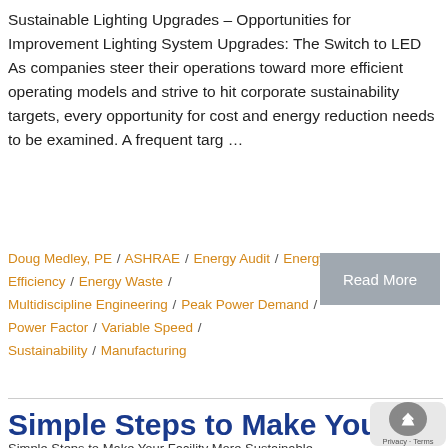Sustainable Lighting Upgrades – Opportunities for Improvement Lighting System Upgrades: The Switch to LED As companies steer their operations toward more efficient operating models and strive to hit corporate sustainability targets, every opportunity for cost and energy reduction needs to be examined. A frequent targ …
Doug Medley, PE / ASHRAE / Energy Audit / Energy Efficiency / Energy Waste / Multidiscipline Engineering / Peak Power Demand / Power Factor / Variable Speed / Sustainability / Manufacturing
Read More
Simple Steps to Make Your Facility More Sustainable
Simple Steps to Make Your Facility More Sustainable...